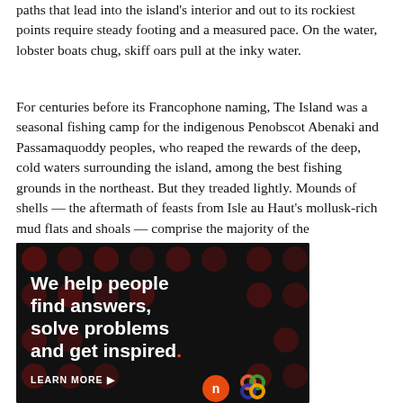paths that lead into the island's interior and out to its rockiest points require steady footing and a measured pace. On the water, lobster boats chug, skiff oars pull at the inky water.
For centuries before its Francophone naming, The Island was a seasonal fishing camp for the indigenous Penobscot Abenaki and Passamaquoddy peoples, who reaped the rewards of the deep, cold waters surrounding the island, among the best fishing grounds in the northeast. But they treaded lightly. Mounds of shells — the aftermath of feasts from Isle au Haut's mollusk-rich mud flats and shoals — comprise the majority of the archaeological record they left.
[Figure (infographic): Advertisement banner with dark background and polka dot pattern. Text reads: 'We help people find answers, solve problems and get inspired.' with 'LEARN MORE' button and logos.]